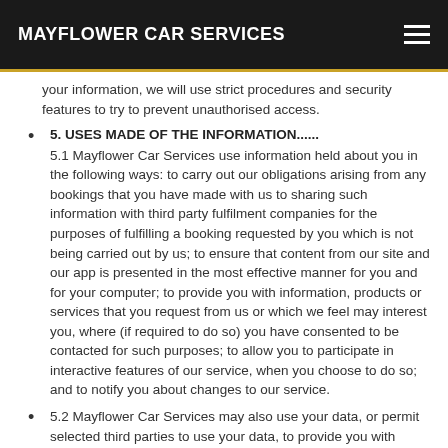MAYFLOWER CAR SERVICES
your information, we will use strict procedures and security features to try to prevent unauthorised access.
5. USES MADE OF THE INFORMATION......
5.1 Mayflower Car Services use information held about you in the following ways: to carry out our obligations arising from any bookings that you have made with us to sharing such information with third party fulfilment companies for the purposes of fulfilling a booking requested by you which is not being carried out by us; to ensure that content from our site and our app is presented in the most effective manner for you and for your computer; to provide you with information, products or services that you request from us or which we feel may interest you, where (if required to do so) you have consented to be contacted for such purposes; to allow you to participate in interactive features of our service, when you choose to do so; and to notify you about changes to our service.
5.2 Mayflower Car Services may also use your data, or permit selected third parties to use your data, to provide you with information about goods and services which may be of